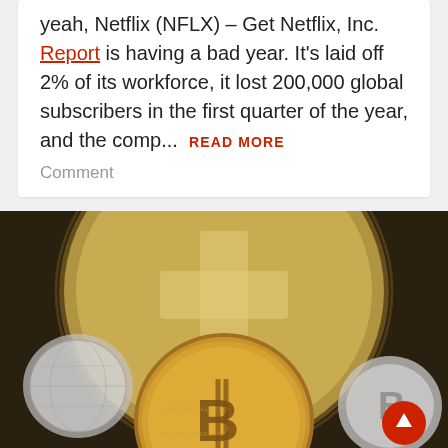yeah, Netflix (NFLX) – Get Netflix, Inc. Report is having a bad year. It's laid off 2% of its workforce, it lost 200,000 global subscribers in the first quarter of the year, and the comp… READ MORE
Comment
[Figure (photo): Close-up photo of multiple Bitcoin coins (gold and silver colored cryptocurrency coins with the Bitcoin logo), arranged with a large gold coin in the center foreground and others behind. A red scroll-to-top button with an upward arrow is overlaid in the bottom-right corner.]